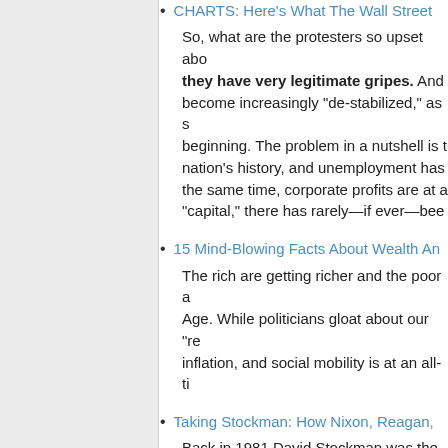CHARTS: Here's What The Wall Street [truncated]
So, what are the protesters so upset abo... they have very legitimate gripes. And... become increasingly "de-stabilized," as s... beginning. The problem in a nutshell is t... nation's history, and unemployment has... the same time, corporate profits are at a... "capital," there has rarely—if ever—bee...
15 Mind-Blowing Facts About Wealth An...
The rich are getting richer and the poor a... Age. While politicians gloat about our "re... inflation, and social mobility is at an all-ti...
Taking Stockman: How Nixon, Reagan, ...
Back in 1981 David Stockman was the w... Budget who'd craft in actual budgets the... lower spending, higher tax revenue. But... don't generate more revenue. They gene... Hayek. The deficits were intentional all a... a way of pressuring Congress to cut the... Daniel Patrick Moynihan at the time...